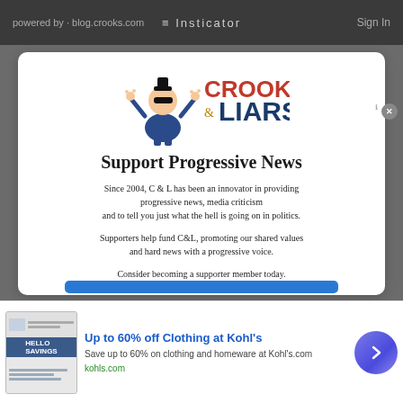Insticator
[Figure (logo): Crooks & Liars logo with cartoon character raising hands and red/blue/gold text]
Support Progressive News
Since 2004, C & L has been an innovator in providing progressive news, media criticism and to tell you just what the hell is going on in politics.
Supporters help fund C&L, promoting our shared values and hard news with a progressive voice.
Consider becoming a supporter member today.
Up to 60% off Clothing at Kohl's
Save up to 60% on clothing and homeware at Kohl's.com
kohls.com